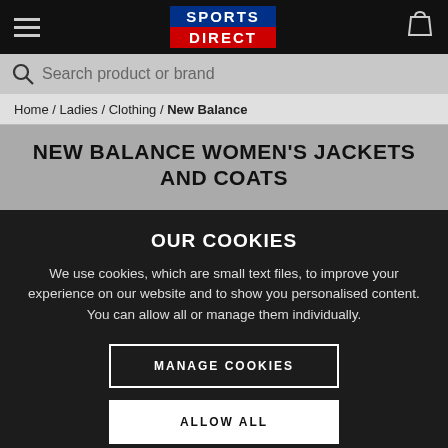[Figure (logo): Sports Direct logo with blue SPORTS and red DIRECT text blocks]
Search product or brand
Home / Ladies / Clothing / New Balance
NEW BALANCE WOMEN'S JACKETS AND COATS
OUR COOKIES
We use cookies, which are small text files, to improve your experience on our website and to show you personalised content. You can allow all or manage them individually.
MANAGE COOKIES
ALLOW ALL